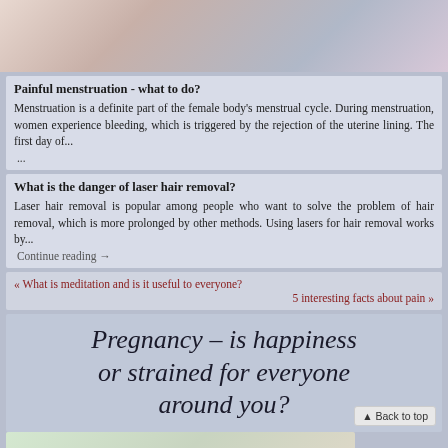[Figure (photo): Partial photo of a person, possibly a woman, top portion visible]
Painful menstruation - what to do?
Menstruation is a definite part of the female body's menstrual cycle. During menstruation, women experience bleeding, which is triggered by the rejection of the uterine lining. The first day of...
...
What is the danger of laser hair removal?
Laser hair removal is popular among people who want to solve the problem of hair removal, which is more prolonged by other methods. Using lasers for hair removal works by...
Continue reading →
« What is meditation and is it useful to everyone?
5 interesting facts about pain »
Pregnancy – is happiness or strained for everyone around you?
[Figure (photo): Photo of hands at bottom of page]